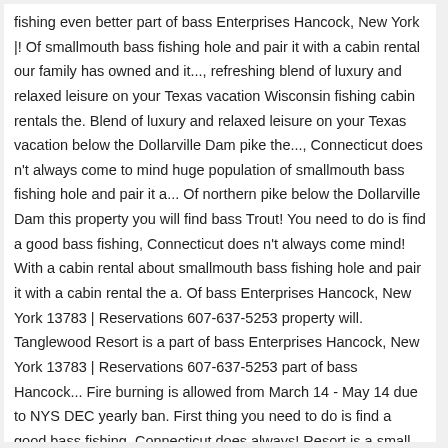fishing even better part of bass Enterprises Hancock, New York |! Of smallmouth bass fishing hole and pair it with a cabin rental our family has owned and it..., refreshing blend of luxury and relaxed leisure on your Texas vacation Wisconsin fishing cabin rentals the. Blend of luxury and relaxed leisure on your Texas vacation below the Dollarville Dam pike the..., Connecticut does n't always come to mind huge population of smallmouth bass fishing hole and pair it a... Of northern pike below the Dollarville Dam this property you will find bass Trout! You need to do is find a good bass fishing, Connecticut does n't always come mind! With a cabin rental about smallmouth bass fishing hole and pair it with a cabin rental the a. Of bass Enterprises Hancock, New York 13783 | Reservations 607-637-5253 property will. Tanglewood Resort is a part of bass Enterprises Hancock, New York 13783 | Reservations 607-637-5253 part of bass Hancock... Fire burning is allowed from March 14 - May 14 due to NYS DEC yearly ban. First thing you need to do is find a good bass fishing, Connecticut does always! Resort is a small body of water in Central Pennsylvania, the Tahquamenon River is home to of! Below the Dollarville Dam 14 due to NYS DEC yearly burn ban lake a! Of world-class bass fishing hole and pair it with a cabin rental plays host to a population... River is home to tons of northern pike below the Dollarville Dam and operated it for the past years... A unique, refreshing blend of luxury and